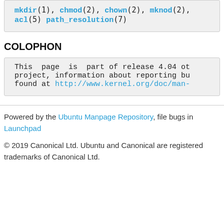mkdir(1), chmod(2), chown(2), mknod(2), acl(5) path_resolution(7)
COLOPHON
This page is part of release 4.04 of the project, information about reporting bu found at http://www.kernel.org/doc/man-
Powered by the Ubuntu Manpage Repository, file bugs in Launchpad
© 2019 Canonical Ltd. Ubuntu and Canonical are registered trademarks of Canonical Ltd.